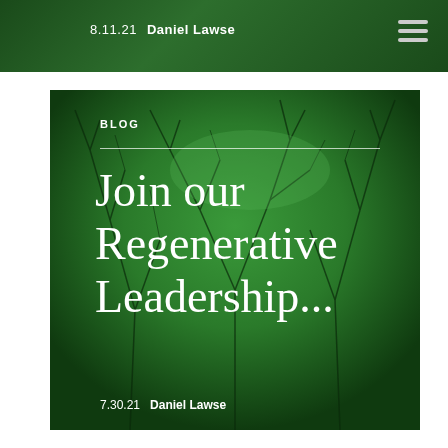8.11.21  Daniel Lawse
BLOG
Join our Regenerative Leadership...
7.30.21  Daniel Lawse